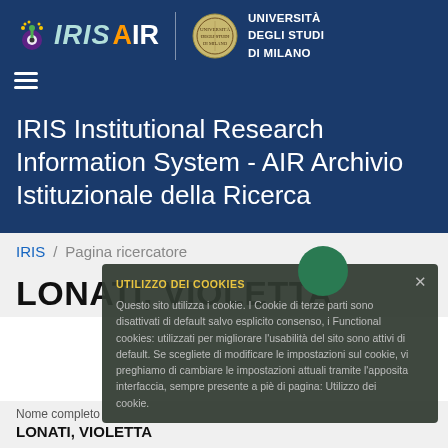[Figure (logo): IRIS AIR logo with stylized eye icon and text, alongside Università degli Studi di Milano seal]
IRIS Institutional Research Information System - AIR Archivio Istituzionale della Ricerca
IRIS / Pagina ricercatore
LONATI, VIOLETTA
UTILIZZO DEI COOKIES
Questo sito utilizza i cookie. I Cookie di terze parti sono disattivati di default salvo esplicito consenso, i Functional cookies: utilizzati per migliorare l'usabilità del sito sono attivi di default. Se scegliete di modificare le impostazioni sul cookie, vi preghiamo di cambiare le impostazioni attuali tramite l'apposita interfaccia, sempre presente a piè di pagina: Utilizzo dei cookie.
Nome completo
LONATI, VIOLETTA